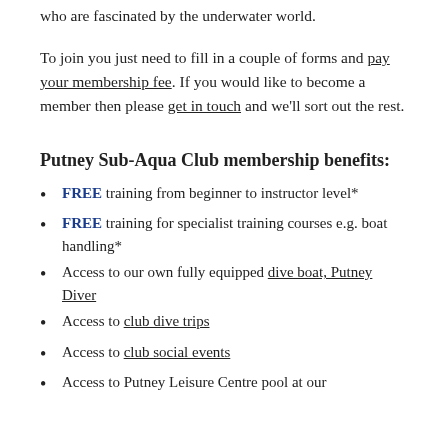who are fascinated by the underwater world.
To join you just need to fill in a couple of forms and pay your membership fee. If you would like to become a member then please get in touch and we’ll sort out the rest.
Putney Sub-Aqua Club membership benefits:
FREE training from beginner to instructor level*
FREE training for specialist training courses e.g. boat handling*
Access to our own fully equipped dive boat, Putney Diver
Access to club dive trips
Access to club social events
Access to Putney Leisure Centre pool at our